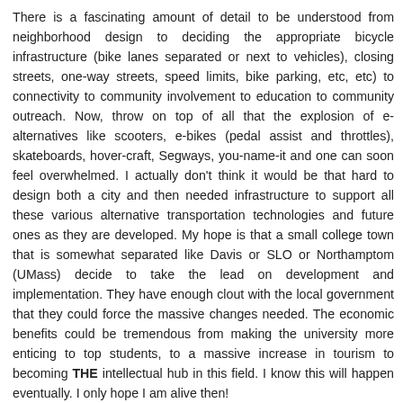There is a fascinating amount of detail to be understood from neighborhood design to deciding the appropriate bicycle infrastructure (bike lanes separated or next to vehicles), closing streets, one-way streets, speed limits, bike parking, etc, etc) to connectivity to community involvement to education to community outreach. Now, throw on top of all that the explosion of e-alternatives like scooters, e-bikes (pedal assist and throttles), skateboards, hover-craft, Segways, you-name-it and one can soon feel overwhelmed. I actually don't think it would be that hard to design both a city and then needed infrastructure to support all these various alternative transportation technologies and future ones as they are developed. My hope is that a small college town that is somewhat separated like Davis or SLO or Northamptom (UMass) decide to take the lead on development and implementation. They have enough clout with the local government that they could force the massive changes needed. The economic benefits could be tremendous from making the university more enticing to top students, to a massive increase in tourism to becoming THE intellectual hub in this field. I know this will happen eventually. I only hope I am alive then!